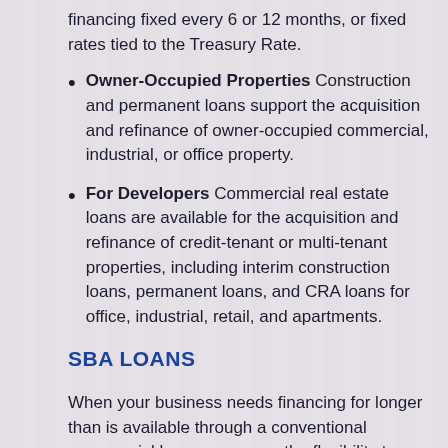financing fixed every 6 or 12 months, or fixed rates tied to the Treasury Rate.
Owner-Occupied Properties Construction and permanent loans support the acquisition and refinance of owner-occupied commercial, industrial, or office property.
For Developers Commercial real estate loans are available for the acquisition and refinance of credit-tenant or multi-tenant properties, including interim construction loans, permanent loans, and CRA loans for office, industrial, retail, and apartments.
SBA LOANS
When your business needs financing for longer than is available through a conventional commercial loan program or the flexibility to